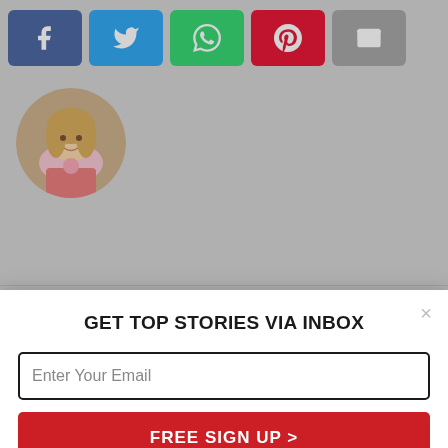[Figure (screenshot): Social media share buttons: Facebook (blue), Twitter (light blue), WhatsApp (green), Pinterest (red), Email (gray)]
[Figure (photo): Circular avatar of a blonde woman]
UPDATES
[Figure (screenshot): Modal popup: GET TOP STORIES VIA INBOX with email input field, FREE SIGN UP > button, and No, thank you. link]
response
UPDATES
How Charlie Chaplin's dead body was stolen from his grave
[Figure (photo): Circular black and white photo of Charlie Chaplin]